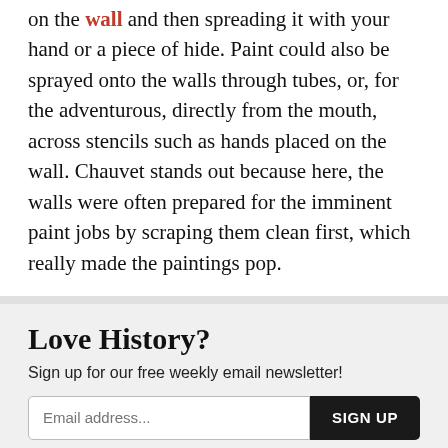on the wall and then spreading it with your hand or a piece of hide. Paint could also be sprayed onto the walls through tubes, or, for the adventurous, directly from the mouth, across stencils such as hands placed on the wall. Chauvet stands out because here, the walls were often prepared for the imminent paint jobs by scraping them clean first, which really made the paintings pop.
Love History?
Sign up for our free weekly email newsletter!
[Figure (photo): Cave painting photograph showing textured rock surface with painted animal figures, warm earth tones with blue-green accents]